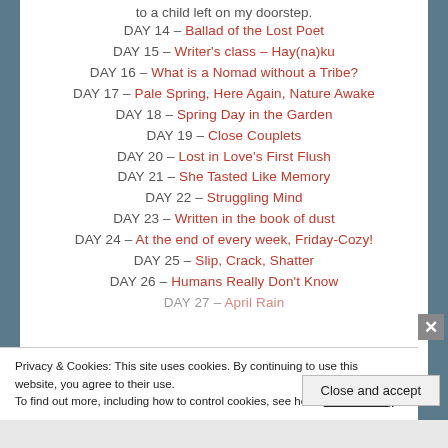DAY 14 – Ballad of the Lost Poet
DAY 15 – Writer's class – Hay(na)ku
DAY 16 – What is a Nomad without a Tribe?
DAY 17 – Pale Spring, Here Again, Nature Awake
DAY 18 – Spring Day in the Garden
DAY 19 – Close Couplets
DAY 20 – Lost in Love's First Flush
DAY 21 – She Tasted Like Memory
DAY 22 – Struggling Mind
DAY 23 – Written in the book of dust
DAY 24 – At the end of every week, Friday-Cozy!
DAY 25 – Slip, Crack, Shatter
DAY 26 – Humans Really Don't Know
DAY 27 – April Rain
Privacy & Cookies: This site uses cookies. By continuing to use this website, you agree to their use. To find out more, including how to control cookies, see here: Cookie Policy